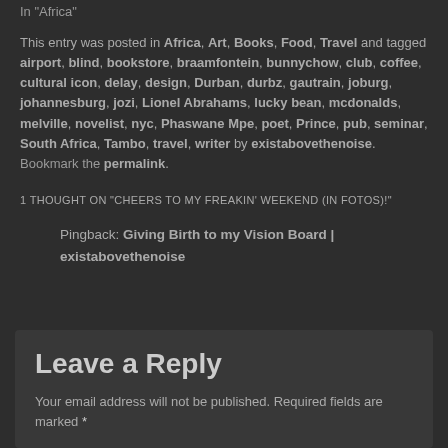In "Africa"
This entry was posted in Africa, Art, Books, Food, Travel and tagged airport, blind, bookstore, braamfontein, bunnychow, club, coffee, cultural icon, delay, design, Durban, durbz, gautrain, joburg, johannesburg, jozi, Lionel Abrahams, lucky bean, mcdonalds, melville, novelist, nyc, Phaswane Mpe, poet, Prince, pub, seminar, South Africa, Tambo, travel, writer by existabovethenoise. Bookmark the permalink.
1 THOUGHT ON "CHEERS TO MY FREAKIN' WEEKEND (IN FOTOS)!"
Pingback: Giving Birth to my Vision Board | existabovethenoise
Leave a Reply
Your email address will not be published. Required fields are marked *